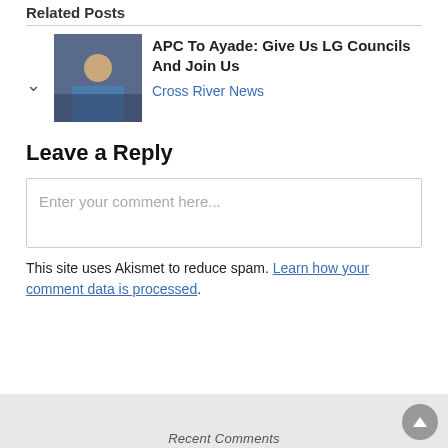Related Posts
APC To Ayade: Give Us LG Councils And Join Us
Cross River News
Leave a Reply
Enter your comment here...
This site uses Akismet to reduce spam. Learn how your comment data is processed.
Recent Comments